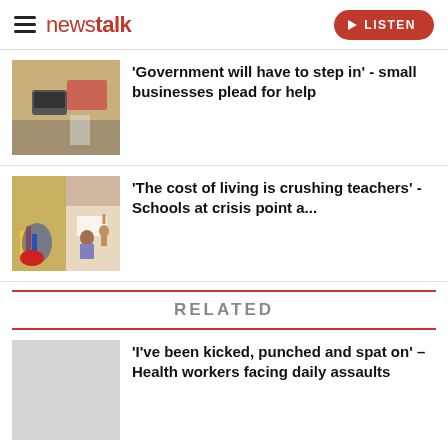newstalk — LISTEN
'Government will have to step in' - small businesses plead for help
'The cost of living is crushing teachers' - Schools at crisis point a...
RELATED
'I've been kicked, punched and spat on' – Health workers facing daily assaults